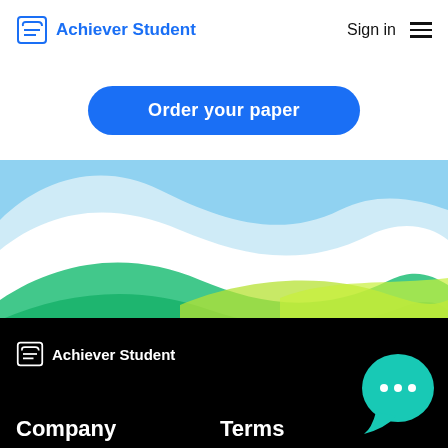Achiever Student  |  Sign in
Order your paper
[Figure (illustration): Wavy landscape illustration with blue, green, and yellow-green wave shapes on white background]
[Figure (logo): Achiever Student logo in white on black footer]
Company   Terms